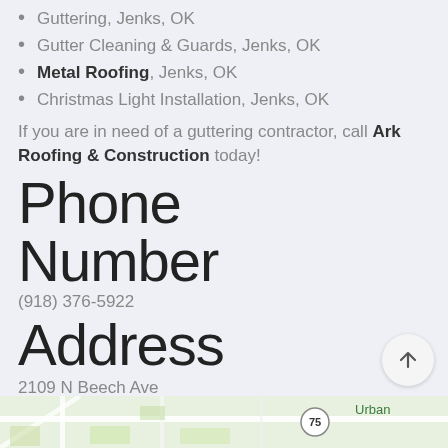Guttering, Jenks, OK
Gutter Cleaning & Guards, Jenks, OK
Metal Roofing, Jenks, OK
Christmas Light Installation, Jenks, OK
If you are in need of a guttering contractor, call Ark Roofing & Construction today!
Phone Number
(918) 376-5922
Address
2109 N Beech Ave
Broken Arrow, OK 74012
Servicing
[Figure (map): Partial street map showing area near Broken Arrow, OK with route 75 visible and 'Urban' label]